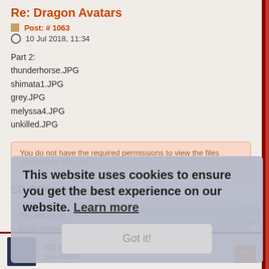Re: Dragon Avatars
Post: # 1063
10 Jul 2018, 11:34
Part 2:
thunderhorse.JPG
shimata1.JPG
grey.JPG
melyssa4.JPG
unkilled.JPG
You do not have the required permissions to view the files attached to this post.
SD Offspring
Shadow Dragons | Leader
Sky above us
Earth below us
Fire within us
This website uses cookies to ensure you get the best experience on our website. Learn more
Got it!
SD Offspring
Site Admin